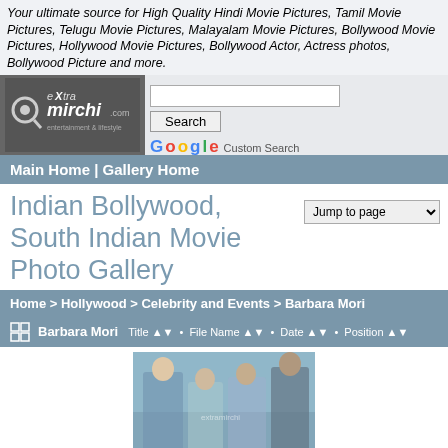Your ultimate source for High Quality Hindi Movie Pictures, Tamil Movie Pictures, Telugu Movie Pictures, Malayalam Movie Pictures, Bollywood Movie Pictures, Hollywood Movie Pictures, Bollywood Actor, Actress photos, Bollywood Picture and more.
[Figure (logo): eXtra mirchi .com entertainment & lifestyle logo on dark gray background]
Search (input box and button), Google Custom Search
Main Home | Gallery Home
Indian Bollywood, South Indian Movie Photo Gallery
Jump to page (dropdown)
Home > Hollywood > Celebrity and Events > Barbara Mori
Barbara Mori  Title ▲▼ • File Name ▲▼ • Date ▲▼ • Position ▲▼
[Figure (photo): Group photo of people including Barbara Mori and Hrithik Roshan outdoors]
Beautiful Latin Actress Barbara Mori and actor Hrithik Roshan (3)